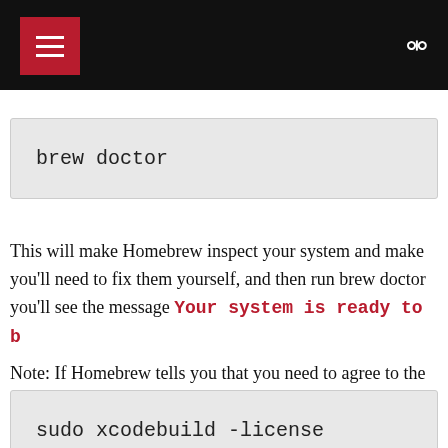[Navigation header with menu and search icons]
brew doctor
This will make Homebrew inspect your system and make you'll need to fix them yourself, and then run brew doctor you'll see the message Your system is ready to b
Note: If Homebrew tells you that you need to agree to the X
sudo xcodebuild -license